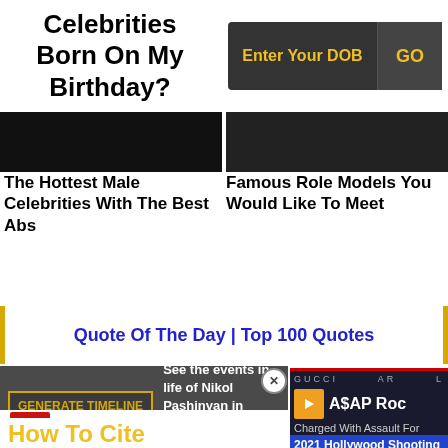Celebrities Born On My Birthday?
Enter Your DOB | GO
[Figure (photo): Dark photo of a male celebrity]
The Hottest Male Celebrities With The Best Abs
[Figure (photo): Dark photo of a male celebrity]
Famous Role Models You Would Like To Meet
Quote Of The Day | Top 100 Quotes
GENERATE TIMELINE  See the events in life of Nikol Pashinyan in Chronological Order
Nikol Pashinyan Bio As PD
How To Cite
[Figure (screenshot): Video overlay showing ASAP Rocky news: 'ASAP Rocky Charged With Assault For 2021 Hollywood Shooting' with GUCCI banner]
GUCCI  AR  L